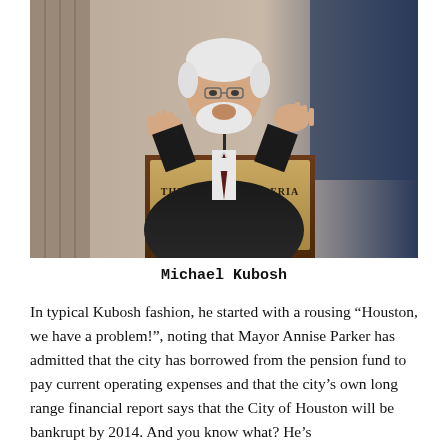[Figure (photo): A man with white hair and beard wearing a dark suit with a dark tie, speaking at a podium labeled 'The Westin Galleria & Westin Oaks Houston', gesturing with both hands raised.]
Michael Kubosh
In typical Kubosh fashion, he started with a rousing "Houston, we have a problem!", noting that Mayor Annise Parker has admitted that the city has borrowed from the pension fund to pay current operating expenses and that the city's own long range financial report says that the City of Houston will be bankrupt by 2014. And you know what? He's